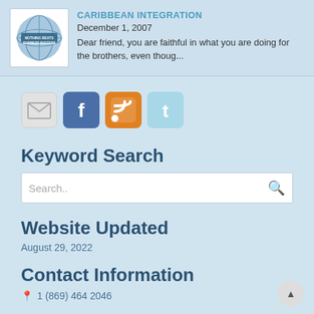[Figure (logo): Globe logo with text NOTHING BEATS BUSINESS SUCCESS]
CARIBBEAN INTEGRATION
December 1, 2007
Dear friend, you are faithful in what you are doing for the brothers, even thoug...
[Figure (infographic): Social media icons: email, Facebook, RSS, Twitter]
Keyword Search
Search...
Website Updated
August 29, 2022
Contact Information
1 (869) 464 2046